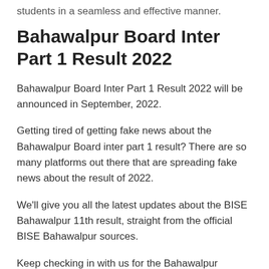students in a seamless and effective manner.
Bahawalpur Board Inter Part 1 Result 2022
Bahawalpur Board Inter Part 1 Result 2022 will be announced in September, 2022.
Getting tired of getting fake news about the Bahawalpur Board inter part 1 result? There are so many platforms out there that are spreading fake news about the result of 2022.
We'll give you all the latest updates about the BISE Bahawalpur 11th result, straight from the official BISE Bahawalpur sources.
Keep checking in with us for the Bahawalpur